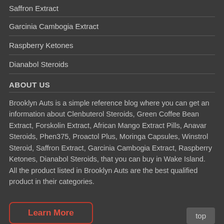Saffron Extract
Garcinia Cambogia Extract
Raspberry Ketones
Dianabol Steroids
ABOUT US
Brooklyn Auts is a simple reference blog where you can get an information about Clenbuterol Steroids, Green Coffee Bean Extract, Forskolin Extract, African Mango Extract Pills, Anavar Steroids, Phen375, Proactol Plus, Moringa Capsules, Winstrol Steroid, Saffron Extract, Garcinia Cambogia Extract, Raspberry Ketones, Dianabol Steroids, that you can buy in Wake Island. All the product listed in Brooklyn Auts are the best qualified product in their categories.
Learn More
top